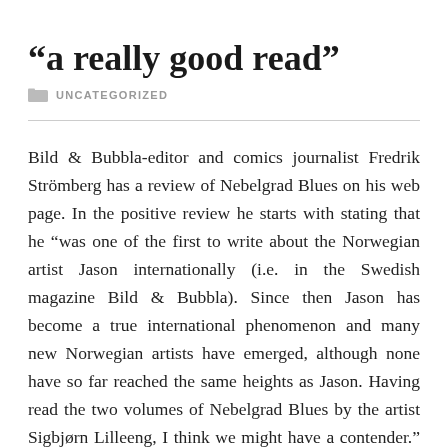“a really good read”
UNCATEGORIZED
Bild & Bubbla-editor and comics journalist Fredrik Strömberg has a review of Nebelgrad Blues on his web page. In the positive review he starts with stating that he “was one of the first to write about the Norwegian artist Jason internationally (i.e. in the Swedish magazine Bild & Bubbla). Since then Jason has become a true international phenomenon and many new Norwegian artists have emerged, although none have so far reached the same heights as Jason. Having read the two volumes of Nebelgrad Blues by the artist Sigbjørn Lilleeng, I think we might have a contender.” Strömberg also points out that Lilleeng has European, American and Japanese influences, but also is founded in the modern Norwegian comics’ tradition. His conclusion is “For those of you living in